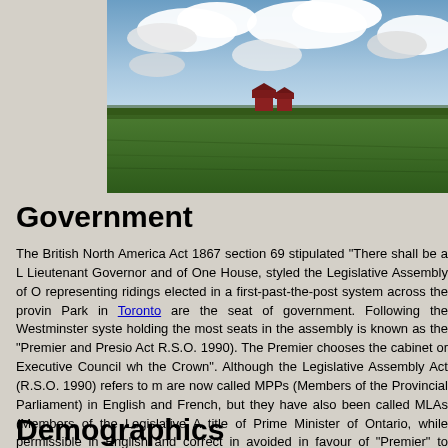[Figure (photo): Landscape photograph showing flat green agricultural fields under a partly cloudy blue sky, with small red farm buildings visible on the horizon. Appears to be rural Ontario countryside.]
Government
The British North America Act 1867 section 69 stipulated "There shall be a Lieutenant Governor and of One House, styled the Legislative Assembly of Ontario" representing ridings elected in a first-past-the-post system across the province. Queen's Park in Toronto are the seat of government. Following the Westminster system, holding the most seats in the assembly is known as the "Premier and President" (Legislative Assembly Act R.S.O. 1990). The Premier chooses the cabinet or Executive Council which "advises and assists the Crown". Although the Legislative Assembly Act (R.S.O. 1990) refers to members, they are now called MPPs (Members of the Provincial Parliament) in English and French, but they have also been called MLAs (Members of the Legislative Assembly). The title of Prime Minister of Ontario, while permissible in English and correct in French, is avoided in favour of "Premier" to avoid confusion with the Prime Minister of Canada.
Demographics